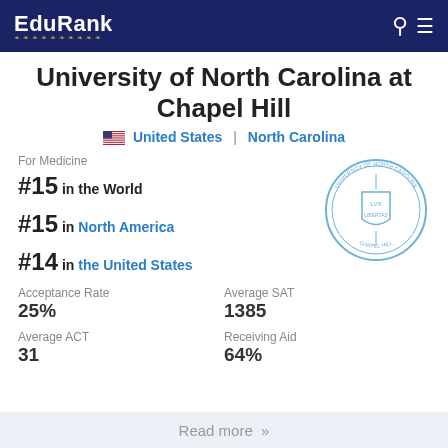EduRank
University of North Carolina at Chapel Hill
United States | North Carolina
For Medicine
#15 in the World
#15 in North America
#14 in the United States
[Figure (logo): University of North Carolina at Chapel Hill official seal in light blue]
Acceptance Rate
25%
Average SAT
1385
Average ACT
31
Receiving Aid
64%
Read more »